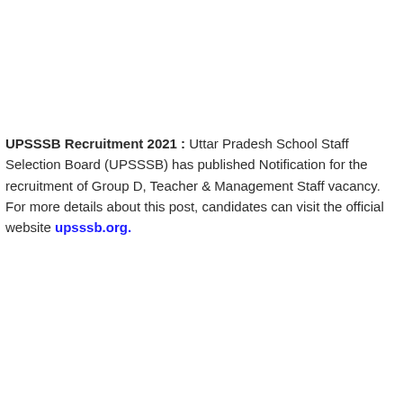UPSSSB Recruitment 2021 : Uttar Pradesh School Staff Selection Board (UPSSSB) has published Notification for the recruitment of Group D, Teacher & Management Staff vacancy. For more details about this post, candidates can visit the official website upsssb.org.